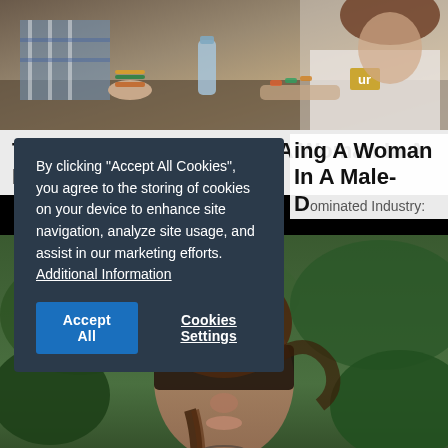[Figure (photo): Top photo showing people seated at a table, a woman in a white shirt with a logo visible, a water bottle on the table, bracelets on wrists.]
The Challenges Of Being A Woman In A Male-Dominated Industry:
[Figure (photo): Bottom photo showing a woman with braided hair standing outdoors in front of green foliage, her face partially obscured by shadow.]
By clicking "Accept All Cookies", you agree to the storing of cookies on your device to enhance site navigation, analyze site usage, and assist in our marketing efforts. Additional Information
Accept All   Cookies Settings